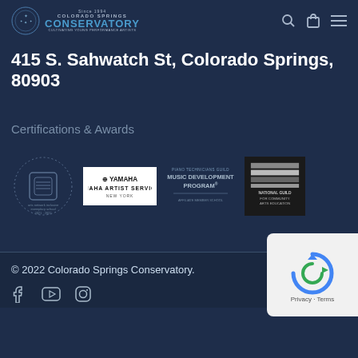Colorado Springs Conservatory — Since 1994
415 S. Sahwatch St, Colorado Springs, 80903
Certifications & Awards
[Figure (logo): Arts network inclusive exemplary school 2021-2022 badge]
[Figure (logo): Yamaha Artist Services New York logo]
[Figure (logo): Music Development Program logo]
[Figure (logo): National Guild for Community Arts Education logo]
© 2022 Colorado Springs Conservatory.
[Figure (logo): reCAPTCHA widget with Privacy and Terms links]